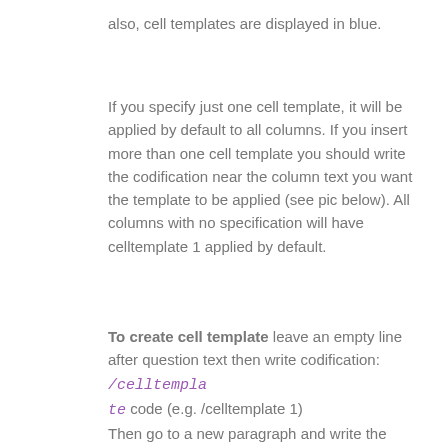also, cell templates are displayed in blue.
If you specify just one cell template, it will be applied by default to all columns. If you insert more than one cell template you should write the codification near the column text you want the template to be applied (see pic below). All columns with no specification will have celltemplate 1 applied by default.
To create cell template leave an empty line after question text then write codification: /celltemplate code (e.g. /celltemplate 1)
Then go to a new paragraph and write the settings